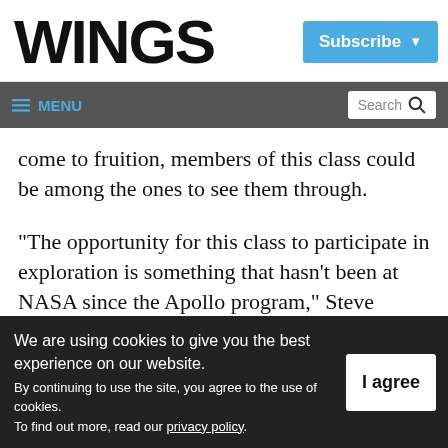WINGS
Subscribe
≡ MENU  Search
come to fruition, members of this class could be among the ones to see them through.
“The opportunity for this class to participate in exploration is something that hasn’t been at NASA since the Apollo program,” Steve Lindsey, chief of the astronaut office, said
We are using cookies to give you the best experience on our website.
By continuing to use the site, you agree to the use of cookies.
To find out more, read our privacy policy.
I agree